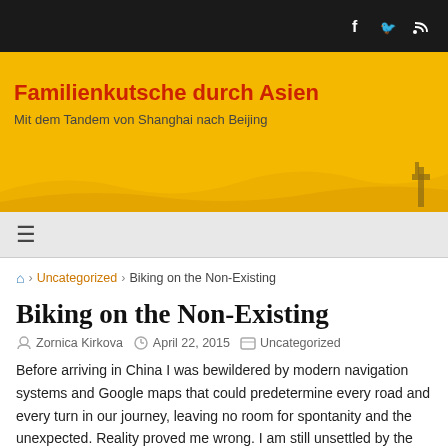Familienkutsche durch Asien — Mit dem Tandem von Shanghai nach Beijing
Biking on the Non-Existing
Biking on the Non-Existing
Zornica Kirkova   April 22, 2015   Uncategorized
Before arriving in China I was bewildered by modern navigation systems and Google maps that could predetermine every road and every turn in our journey, leaving no room for spontanity and the unexpected. Reality proved me wrong. I am still unsettled by the fact that all those narrow village and field lanes we bike along in Jiangsu are displayed on our navigation system. It has, however, also lead us along newly built streets – so new, that the brick walls at the end of them had not yet been removed. It has directed us towards bridges, which were still under construction. We headed to hotels,